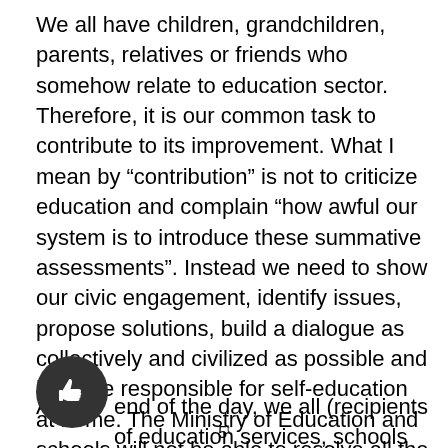We all have children, grandchildren, parents, relatives or friends who somehow relate to education sector. Therefore, it is our common task to contribute to its improvement. What I mean by “contribution” is not to criticize education and complain “how awful our system is to introduce these summative assessments”. Instead we need to show our civic engagement, identify issues, propose solutions, build a dialogue as collectively and civilized as possible and become responsible for self-education at home. The Ministry of Education and schools will not be able to resolve all the issues without our contribution. As my colleague used to say: “I would never want to be in the policy makers’ shoes – it is difficult to make decisions and take responsibility for 18 million people; no one will thank you in any case”.
[Figure (illustration): A dark circular thumbs-up icon button]
At the end of the day, we all (recipients of education services, schools and government) have the same goal – so that every citizen of our country receives high quality
5th